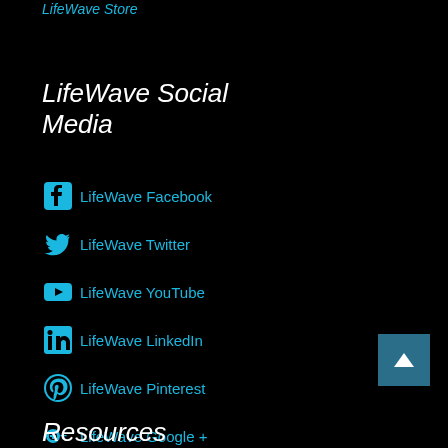LifeWave Store
LifeWave Social Media
LifeWave Facebook
LifeWave Twitter
LifeWave YouTube
LifeWave LinkedIn
LifeWave Pinterest
LifeWave Google +
LifeWave Instagram
Resources